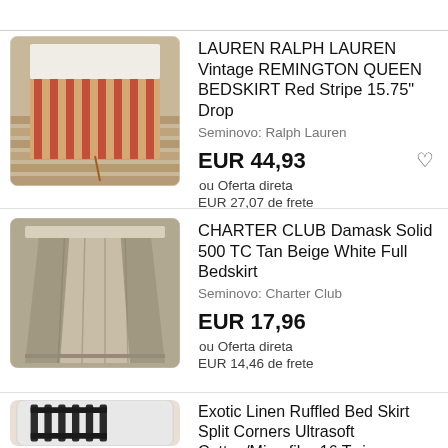[Figure (photo): Product photo of a striped red and tan bedskirt laid flat on wooden surface]
LAUREN RALPH LAUREN Vintage REMINGTON QUEEN BEDSKIRT Red Stripe 15.75" Drop
Seminovo: Ralph Lauren
EUR 44,93
ou Oferta direta
EUR 27,07 de frete
[Figure (photo): Product photo of a tan/beige bedskirt showing fabric and stitching detail]
CHARTER CLUB Damask Solid 500 TC Tan Beige White Full Bedskirt
Seminovo: Charter Club
EUR 17,96
ou Oferta direta
EUR 14,46 de frete
[Figure (photo): Product photo of a dark colored bed frame with ruffled bed skirt]
Exotic Linen Ruffled Bed Skirt Split Corners Ultrasoft Cotton/Microfiber16 Twin